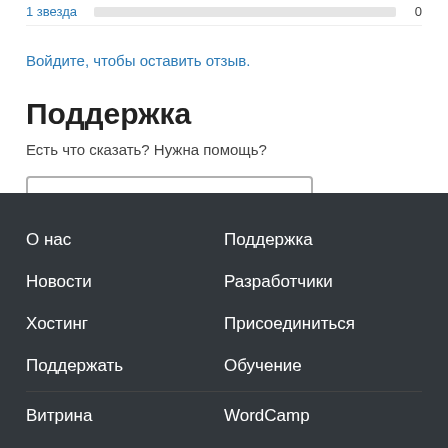1 звезда
Войдите, чтобы оставить отзыв.
Поддержка
Есть что сказать? Нужна помощь?
Перейти в форум поддержки
О нас
Поддержка
Новости
Разработчики
Хостинг
Присоединиться
Поддержать
Обучение
Витрина
WordCamp